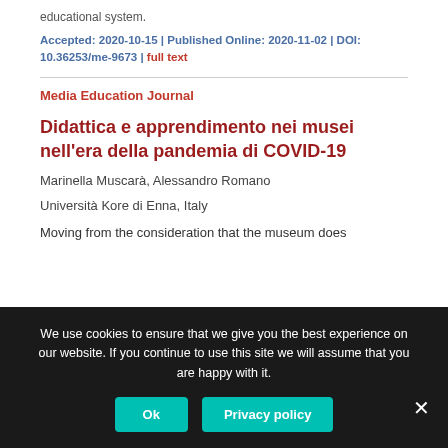educational system.
Accepted: 2020-10-15 | Published Online: 2020-11-02 | DOI: 10.36253/me-9673 | full text
Media Education Journal
Didattica e apprendimento nei musei nell'era della pandemia di COVID-19
Marinella Muscarà, Alessandro Romano
Università Kore di Enna, Italy
Moving from the consideration that the museum does
We use cookies to ensure that we give you the best experience on our website. If you continue to use this site we will assume that you are happy with it.